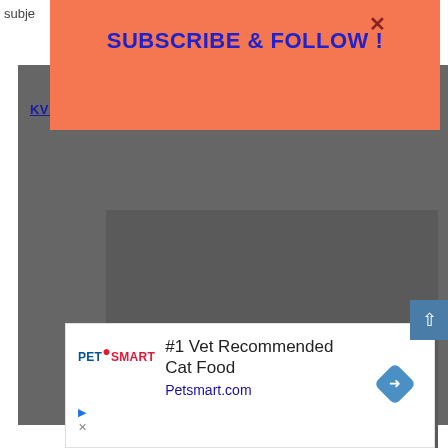subje
[Figure (screenshot): Dark gray background content area of a webpage showing a subscription popup overlay and a KV No. 1 Indore Announcements link. A scroll-to-top button is visible at bottom right.]
SUBSCRIBE & FOLLOW !
KV NO. 1 INDORE ANNOUNCEMENTS 📢
[Figure (screenshot): Ad banner for PetSmart showing '#1 Vet Recommended Cat Food' with Petsmart.com link and navigation arrow icon]